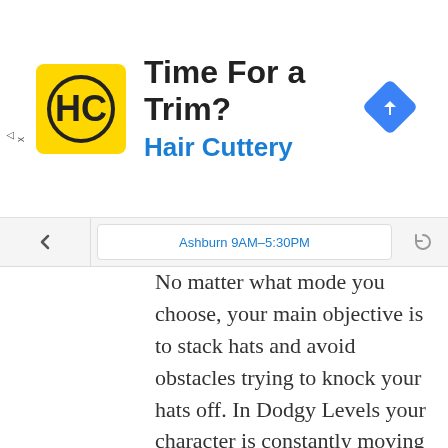[Figure (other): Advertisement banner for Hair Cuttery with yellow logo, title 'Time For a Trim?', subtitle 'Hair Cuttery', and a blue navigation arrow icon on the right.]
Ashburn 9AM–5:30PM
No matter what mode you choose, your main objective is to stack hats and avoid obstacles trying to knock your hats off. In Dodgy Levels your character is constantly moving to the right, much like in an endless runner. You have to jump to grab hats and avoid a barrage of objects coming from the right of the screen. Drinky Levels are significantly more frantic. In these levels you move your character left and right to grab drinks dispensed by a bartender, adding a new hat to your stack for each drink you consume. This time the obstacles are